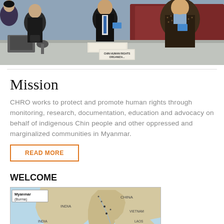[Figure (photo): Group photo of people seated at a conference table with a sign reading 'CHIN HUMAN RIGHTS ORGANIZATION']
Mission
CHRO works to protect and promote human rights through monitoring, research, documentation, education and advocacy on behalf of indigenous Chin people and other oppressed and marginalized communities in Myanmar.
READ MORE
WELCOME
[Figure (map): Map of Myanmar (Burma) showing surrounding countries including India, China, and neighboring states]